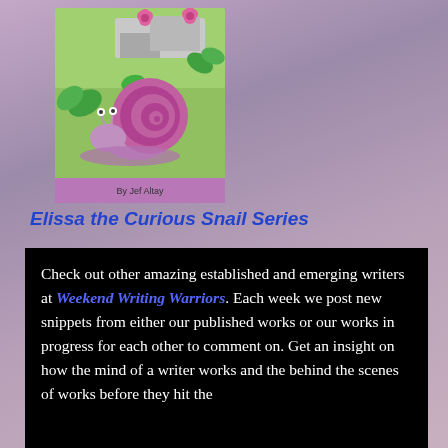[Figure (illustration): Book cover for 'Elissa the Curious Snail Series' showing a cartoon pink snail with a purple shell on a green grass background with flowers and leaves, text 'By Jef Altay' at bottom]
Elissa the Curious Snail Series
Check out other amazing established and emerging writers at Weekend Writing Warriors. Each week we post new snippets from either our published works or our works in progress for each other to comment on. Get an insight on how the mind of a writer works and the behind the scenes of works before they hit the